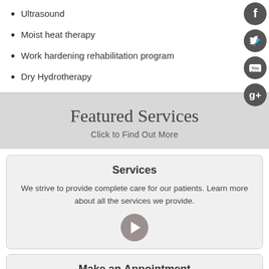Ultrasound
Moist heat therapy
Work hardening rehabilitation program
Dry Hydrotherapy
[Figure (illustration): Social media icons: Facebook, Twitter, YouTube, Google+ arranged vertically on the right side]
Featured Services
Click to Find Out More
Services
We strive to provide complete care for our patients. Learn more about all the services we provide.
[Figure (illustration): Right arrow button icon]
Make an Appointment
We will do our best to accommodate your schedule.
Accessibility View